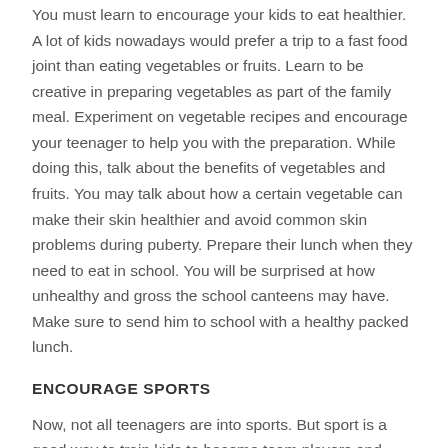You must learn to encourage your kids to eat healthier. A lot of kids nowadays would prefer a trip to a fast food joint than eating vegetables or fruits. Learn to be creative in preparing vegetables as part of the family meal. Experiment on vegetable recipes and encourage your teenager to help you with the preparation. While doing this, talk about the benefits of vegetables and fruits. You may talk about how a certain vegetable can make their skin healthier and avoid common skin problems during puberty. Prepare their lunch when they need to eat in school. You will be surprised at how unhealthy and gross the school canteens may have. Make sure to send him to school with a healthy packed lunch.
ENCOURAGE SPORTS
Now, not all teenagers are into sports. But sport is a good way to train kids to become team players and leaders. It is